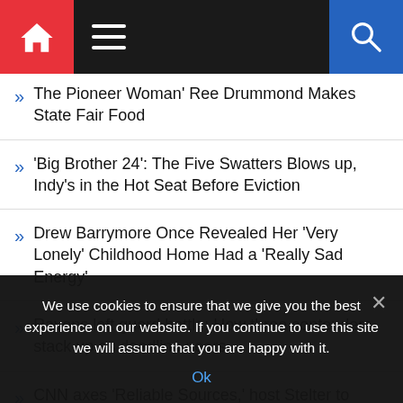Navigation bar with home, menu, and search icons
The Pioneer Woman' Ree Drummond Makes State Fair Food
'Big Brother 24': The Five Swatters Blows up, Indy's in the Hot Seat Before Eviction
Drew Barrymore Once Revealed Her 'Very Lonely' Childhood Home Had a 'Really Sad Energy'
Ravens left guard battle: How three contenders stack up as deadline nears
CNN axes 'Reliable Sources,' host Stelter to leave networtk
We use cookies to ensure that we give you the best experience on our website. If you continue to use this site we will assume that you are happy with it.
Ok